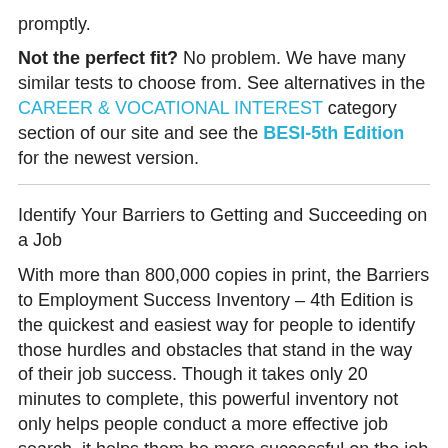promptly.
Not the perfect fit?  No problem.  We have many similar tests to choose from.  See alternatives in the CAREER & VOCATIONAL INTEREST category section of our site and see the BESI-5th Edition for the newest version.
Identify Your Barriers to Getting and Succeeding on a Job
With more than 800,000 copies in print, the Barriers to Employment Success Inventory – 4th Edition is the quickest and easiest way for people to identify those hurdles and obstacles that stand in the way of their job success. Though it takes only 20 minutes to complete, this powerful inventory not only helps people conduct a more effective job search, it helps them be more successful on the job as well.